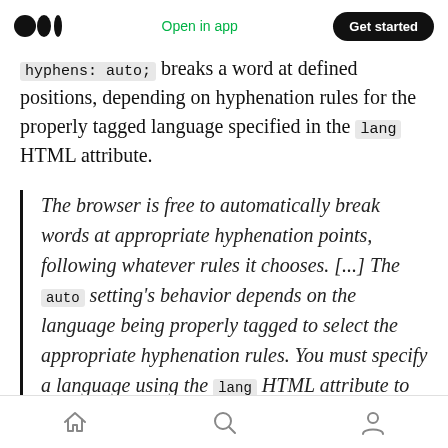Medium logo | Open in app | Get started
hyphens: auto; breaks a word at defined positions, depending on hyphenation rules for the properly tagged language specified in the lang HTML attribute.
The browser is free to automatically break words at appropriate hyphenation points, following whatever rules it chooses. [...] The auto setting's behavior depends on the language being properly tagged to select the appropriate hyphenation rules. You must specify a language using the lang HTML attribute to guarantee that automatic hyphenation
Home | Search | Profile